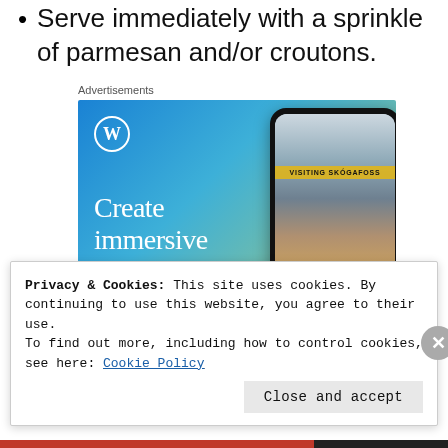Serve immediately with a sprinkle of parmesan and/or croutons.
Advertisements
[Figure (illustration): WordPress advertisement showing logo, text 'Create immersive stories.' and a smartphone displaying a waterfall photo with 'VISITING SKÓGAFOSS' banner]
Privacy & Cookies: This site uses cookies. By continuing to use this website, you agree to their use.
To find out more, including how to control cookies, see here: Cookie Policy
Close and accept